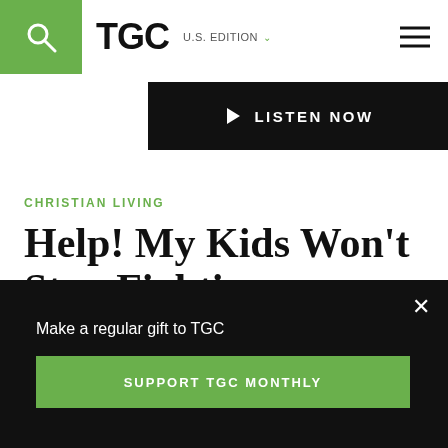TGC U.S. EDITION
[Figure (other): LISTEN NOW audio bar with play button]
CHRISTIAN LIVING
Help! My Kids Won't Stop Fighting
APRIL 6, 2020 — CORLETTE SANDE
[Figure (other): Social share icons: Facebook, Twitter, Email]
Make a regular gift to TGC
SUPPORT TGC MONTHLY